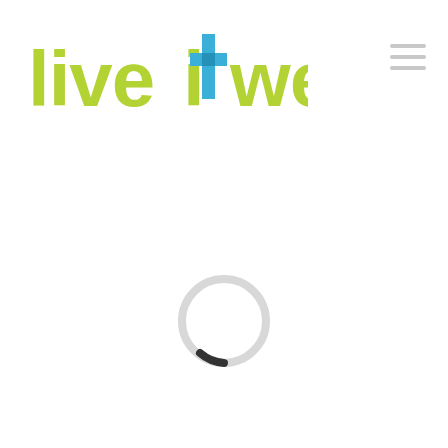[Figure (logo): liveitwell logo in lime green with a blue cross/t icon replacing the letter t]
[Figure (other): A loading spinner: a thin circle mostly light gray with a small dark arc at the bottom, indicating a page loading state]